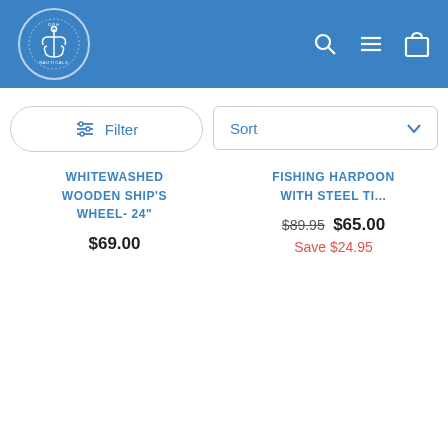[Figure (logo): DRH Nauticals anchor logo in white circle on blue header background]
Filter
Sort
WHITEWASHED WOODEN SHIP'S WHEEL- 24"
$69.00
FISHING HARPOON WITH STEEL TI...
$89.95  $65.00  Save $24.95